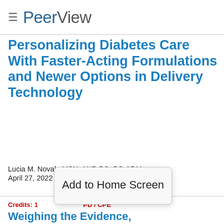PeerView
Practices Optimizing Insulin Management and
Personalizing Diabetes Care With Faster-Acting Formulations and Newer Options in Delivery Technology
Lucia M. Novak, MSN, ANP-BC, BC-ADM
April 27, 2022
Credits: 1 ... PD / CPE
Weighing the Evidence,
Add to Home Screen